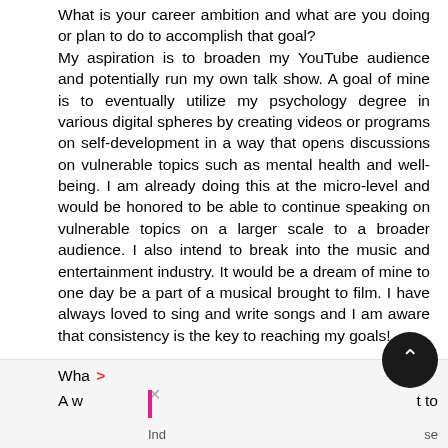What is your career ambition and what are you doing or plan to do to accomplish that goal? My aspiration is to broaden my YouTube audience and potentially run my own talk show. A goal of mine is to eventually utilize my psychology degree in various digital spheres by creating videos or programs on self-development in a way that opens discussions on vulnerable topics such as mental health and well-being. I am already doing this at the micro-level and would be honored to be able to continue speaking on vulnerable topics on a larger scale to a broader audience. I also intend to break into the music and entertainment industry. It would be a dream of mine to one day be a part of a musical brought to film. I have always loved to sing and write songs and I am aware that consistency is the key to reaching my goals!
Wha > A w t to Ind se